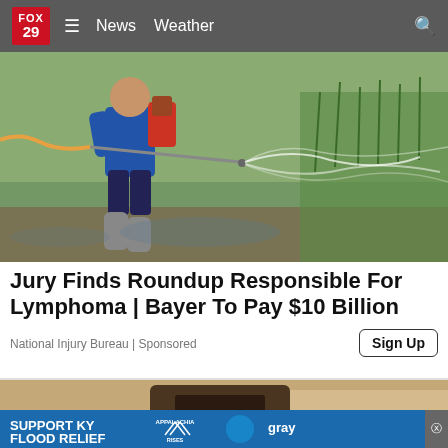FOX 29 | News | Weather
[Figure (photo): Person spraying pesticide/herbicide in a flooded rice field, wearing blue long sleeve shirt and dark shorts with rubber boots, holding spray wand with mist coming out]
Jury Finds Roundup Responsible For Lymphoma | Bayer To Pay $10 Billion
National Injury Bureau | Sponsored
[Figure (photo): Bottom portion of a partially visible image showing rustic/damaged building or wall, with an ad banner overlay reading SUPPORT KY FLOOD RELIEF with Appalachia Rises and Gray logos]